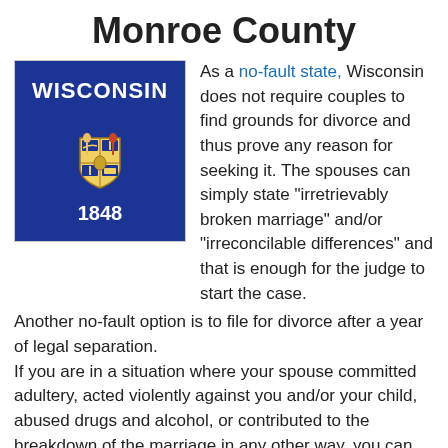Monroe County
[Figure (illustration): Wisconsin state flag — dark blue background with 'WISCONSIN' text at top, state seal in center, and '1848' at bottom in white text]
As a no-fault state, Wisconsin does not require couples to find grounds for divorce and thus prove any reason for seeking it. The spouses can simply state “irretrievably broken marriage” and/or “irreconcilable differences” and that is enough for the judge to start the case. Another no-fault option is to file for divorce after a year of legal separation. If you are in a situation where your spouse committed adultery, acted violently against you and/or your child, abused drugs and alcohol, or contributed to the breakdown of the marriage in any other way, you can inform the court about such behaviors and try to use it as a leverage in child custody, child support, or maintenance. Although there are cases when Wisconsin courts consider fault-based grounds for divorce, litigants who go this route will need legal